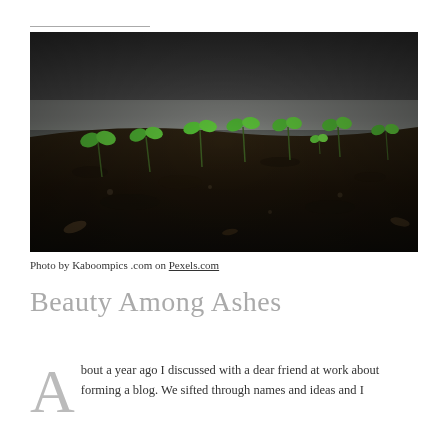[Figure (photo): Close-up photograph of small green seedlings sprouting from dark soil, shallow depth of field with blurred background]
Photo by Kaboompics .com on Pexels.com
Beauty Among Ashes
About a year ago I discussed with a dear friend at work about forming a blog. We sifted through names and ideas and I